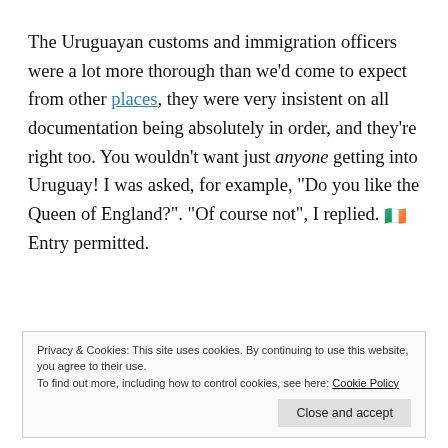The Uruguayan customs and immigration officers were a lot more thorough than we'd come to expect from other places, they were very insistent on all documentation being absolutely in order, and they're right too. You wouldn't want just anyone getting into Uruguay! I was asked, for example, “Do you like the Queen of England?”. “Of course not”, I replied. 🇮🇪 Entry permitted.
Privacy & Cookies: This site uses cookies. By continuing to use this website, you agree to their use. To find out more, including how to control cookies, see here: Cookie Policy
Close and accept